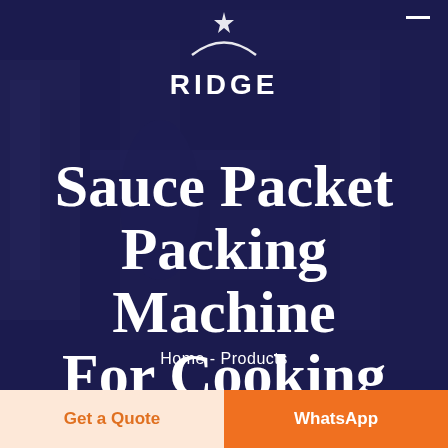[Figure (photo): Background photo of industrial sauce packet packing machine equipment with dark navy blue overlay. A logo at the top center reads RIDGE with a crescent arc below a star symbol.]
Sauce Packet Packing Machine For Cooking Chicken Wings
Home - Products
Get a Quote
WhatsApp